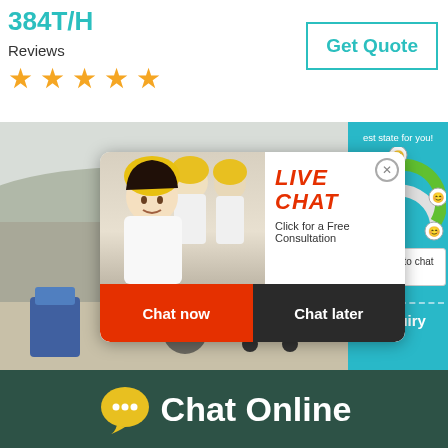384T/H
Reviews
[Figure (other): Five orange star rating icons]
[Figure (other): Get Quote button with teal border]
[Figure (photo): Construction/mining site with large machinery, and overlaid Live Chat popup showing workers in yellow hard hats, with Chat now and Chat later buttons. Right side shows a satisfaction gauge panel with emoji faces on teal background and Click me to chat button and Enquiry label.]
[Figure (other): Chat Online footer bar with chat bubble icon on dark green background]